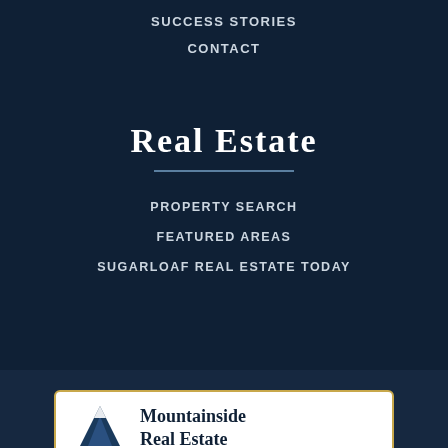SUCCESS STORIES
CONTACT
Real Estate
PROPERTY SEARCH
FEATURED AREAS
SUGARLOAF REAL ESTATE TODAY
[Figure (logo): Mountainside Real Estate logo — mountain triangle icon on left, company name text on right, white background with gold border]